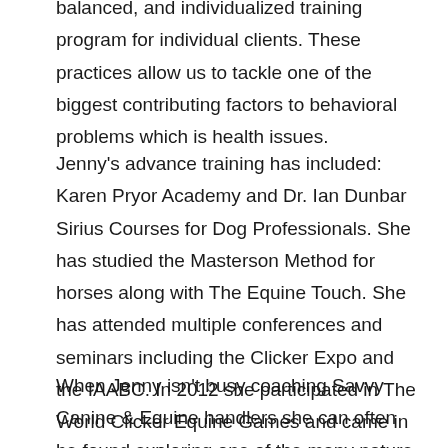balanced, and individualized training program for individual clients. These practices allow us to tackle one of the biggest contributing factors to behavioral problems which is health issues.
Jenny's advance training has included: Karen Pryor Academy and Dr. Ian Dunbar Sirius Courses for Dog Professionals. She has studied the Masterson Method for horses along with The Equine Touch. She has attended multiple conferences and seminars including the Clicker Expo and the IAABC. In 2012 she participated in The World Clicker Equine Games and came in third place.
When Jenny isn't busy coaching Savvy Canine & Equine handlers she can often be found exploring one of the many nature trails in the Boston area with her canine